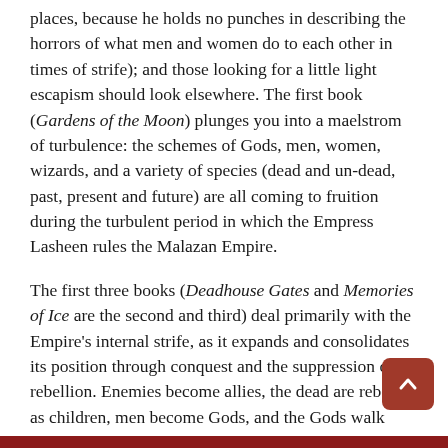places, because he holds no punches in describing the horrors of what men and women do to each other in times of strife); and those looking for a little light escapism should look elsewhere. The first book (Gardens of the Moon) plunges you into a maelstrom of turbulence: the schemes of Gods, men, women, wizards, and a variety of species (dead and un-dead, past, present and future) are all coming to fruition during the turbulent period in which the Empress Lasheen rules the Malazan Empire.
The first three books (Deadhouse Gates and Memories of Ice are the second and third) deal primarily with the Empire's internal strife, as it expands and consolidates its position through conquest and the suppression of rebellion. Enemies become allies, the dead are reborn as children, men become Gods, and the Gods walk among men as we travel across two continents through desserts, plains and across seas. Through it all march the men and women who are soldiers in the armies. People who cry and swear, kill their officers if they get out of line and battle with weapons (swords, lances, and shields) of hand-to-hand combat. There is no way to shirk the responsibility for your actions. You look into the eyes of the person